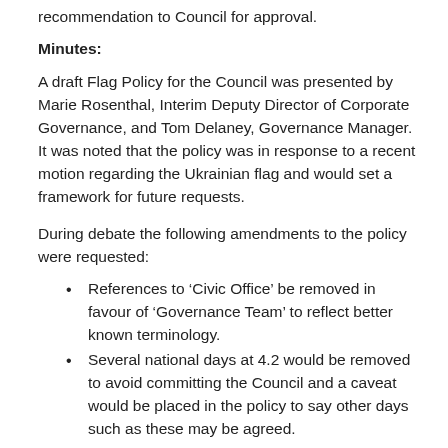recommendation to Council for approval.
Minutes:
A draft Flag Policy for the Council was presented by Marie Rosenthal, Interim Deputy Director of Corporate Governance, and Tom Delaney, Governance Manager. It was noted that the policy was in response to a recent motion regarding the Ukrainian flag and would set a framework for future requests.
During debate the following amendments to the policy were requested:
References to ‘Civic Office’ be removed in favour of ‘Governance Team’ to reflect better known terminology.
Several national days at 4.2 would be removed to avoid committing the Council and a caveat would be placed in the policy to say other days such as these may be agreed.
References to consultation with the Leader of the